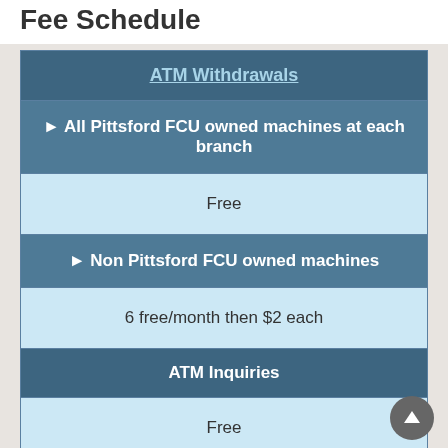Fee Schedule
| ATM Withdrawals |
| ▶ All Pittsford FCU owned machines at each branch |
| Free |
| ▶ Non Pittsford FCU owned machines |
| 6 free/month then $2 each |
| ATM Inquiries |
| Free |
| Credit/Debit/ATM Card Replacement |